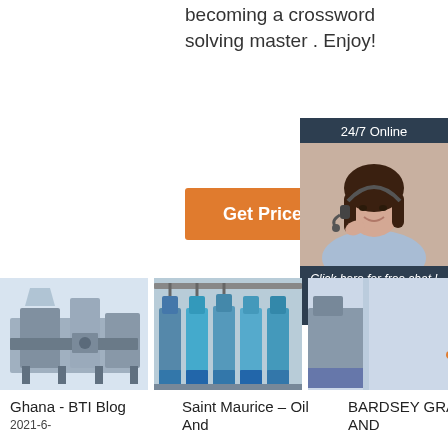becoming a crossword solving master . Enjoy!
[Figure (other): Orange 'Get Price' button]
[Figure (other): 24/7 Online chat panel with photo of woman wearing headset and a QUOTATION button]
[Figure (photo): Industrial milling machine thumbnail 1 - Ghana BTI Blog]
[Figure (photo): Industrial milling machine thumbnail 2 - Saint Maurice Oil And]
[Figure (photo): Industrial milling machine thumbnail 3 - BARDSEY GRANGE AND]
Ghana - BTI Blog
2021-6-
Saint Maurice – Oil And
BARDSEY GRANGE AND